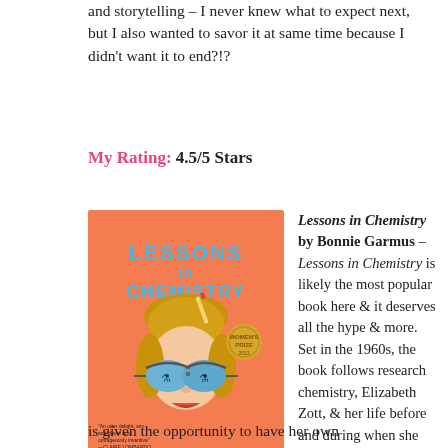and storytelling – I never knew what to expect next, but I also wanted to savor it at same time because I didn't want it to end?!?
My Rating: 4.5/5 Stars
[Figure (illustration): Book cover of 'Lessons in Chemistry' by Bonnie Garmus. Orange background with illustration of a woman's face with sunglasses, hair up with a pencil, and the title in teal letters.]
Lessons in Chemistry by Bonnie Garmus – Lessons in Chemistry is likely the most popular book here & it deserves all the hype & more. Set in the 1960s, the book follows research chemistry, Elizabeth Zott, & her life before and during when she
is given the opportunity to have her own